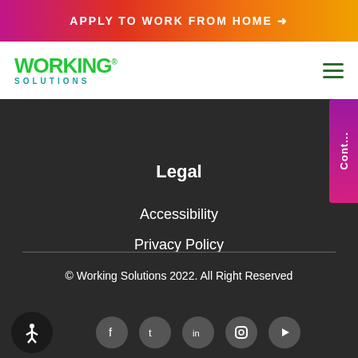APPLY TO WORK FROM HOME →
[Figure (logo): Working Solutions logo with green WORKING text and teal SOLUTIONS text]
Legal
Accessibility
Privacy Policy
© Working Solutions 2022. All Right Reserved